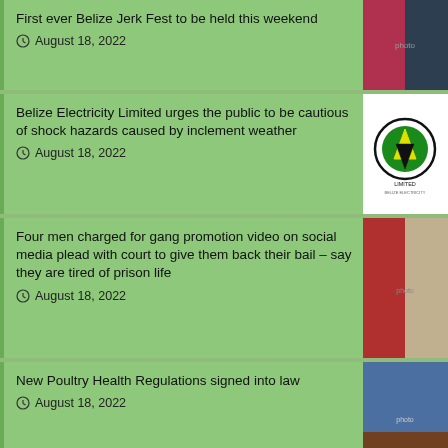First ever Belize Jerk Fest to be held this weekend
August 18, 2022
Belize Electricity Limited urges the public to be cautious of shock hazards caused by inclement weather
August 18, 2022
Four men charged for gang promotion video on social media plead with court to give them back their bail – say they are tired of prison life
August 18, 2022
New Poultry Health Regulations signed into law
August 18, 2022
Select Month